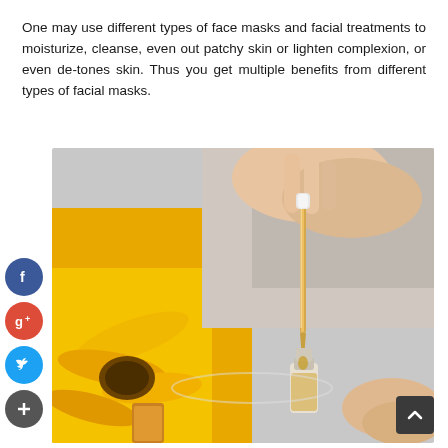One may use different types of face masks and facial treatments to moisturize, cleanse, even out patchy skin or lighten complexion, or even de-tones skin. Thus you get multiple benefits from different types of facial masks.
[Figure (photo): A hand holding a dropper above a small glass bottle, with yellow sunflowers in the background. The dropper appears to contain a golden/amber oil or serum being dispensed into the bottle.]